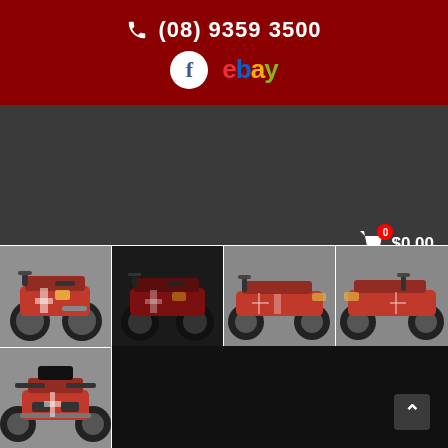(08) 9359 3500
[Figure (screenshot): Facebook icon and eBay logo in red header bar]
[Figure (screenshot): Dark navigation bar with shopping cart showing $0.00 and hamburger menu icon]
[Figure (photo): Red and black ATV quad bike, front-left view on grey background]
[Figure (photo): Red and black ATV quad bike, front-right view, darker/shadowed]
[Figure (photo): Red and black ATV quad bike, side view, grey background]
[Figure (photo): Red and black ATV quad bike, rear-right view, grey background]
[Figure (photo): Red and black ATV quad bike, front view, grey background]